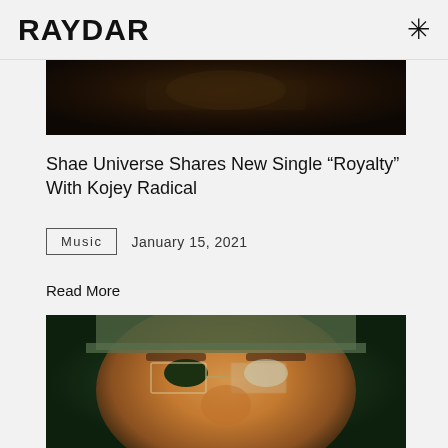RAYDAR
[Figure (photo): Dark moody photo, partial view of a person in dim light, cropped at top]
Shae Universe Shares New Single “Royalty” With Kojey Radical
Music   January 15, 2021
Read More
[Figure (photo): Close-up portrait of a person wearing rimless geometric glasses and a green cap, warm golden skin tones, green background]